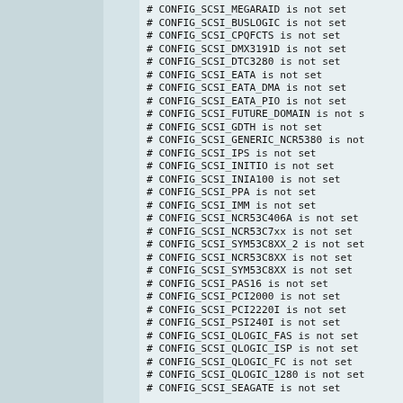# CONFIG_SCSI_MEGARAID is not set
# CONFIG_SCSI_BUSLOGIC is not set
# CONFIG_SCSI_CPQFCTS is not set
# CONFIG_SCSI_DMX3191D is not set
# CONFIG_SCSI_DTC3280 is not set
# CONFIG_SCSI_EATA is not set
# CONFIG_SCSI_EATA_DMA is not set
# CONFIG_SCSI_EATA_PIO is not set
# CONFIG_SCSI_FUTURE_DOMAIN is not s
# CONFIG_SCSI_GDTH is not set
# CONFIG_SCSI_GENERIC_NCR5380 is not
# CONFIG_SCSI_IPS is not set
# CONFIG_SCSI_INITIO is not set
# CONFIG_SCSI_INIA100 is not set
# CONFIG_SCSI_PPA is not set
# CONFIG_SCSI_IMM is not set
# CONFIG_SCSI_NCR53C406A is not set
# CONFIG_SCSI_NCR53C7xx is not set
# CONFIG_SCSI_SYM53C8XX_2 is not set
# CONFIG_SCSI_NCR53C8XX is not set
# CONFIG_SCSI_SYM53C8XX is not set
# CONFIG_SCSI_PAS16 is not set
# CONFIG_SCSI_PCI2000 is not set
# CONFIG_SCSI_PCI2220I is not set
# CONFIG_SCSI_PSI240I is not set
# CONFIG_SCSI_QLOGIC_FAS is not set
# CONFIG_SCSI_QLOGIC_ISP is not set
# CONFIG_SCSI_QLOGIC_FC is not set
# CONFIG_SCSI_QLOGIC_1280 is not set
# CONFIG_SCSI_SEAGATE is not set